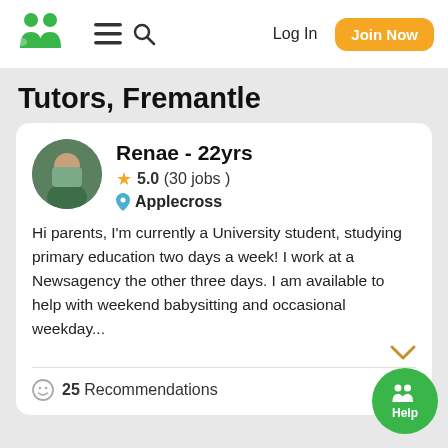[Figure (logo): Gumtree-style double figure green logo]
Log In
Join Now
Tutors, Fremantle
[Figure (photo): Profile photo of Renae, circular crop]
Renae - 22yrs
5.0 (30 jobs )
Applecross
Hi parents, I'm currently a University student, studying primary education two days a week! I work at a Newsagency the other three days. I am available to help with weekend babysitting and occasional weekday...
25  Recommendations